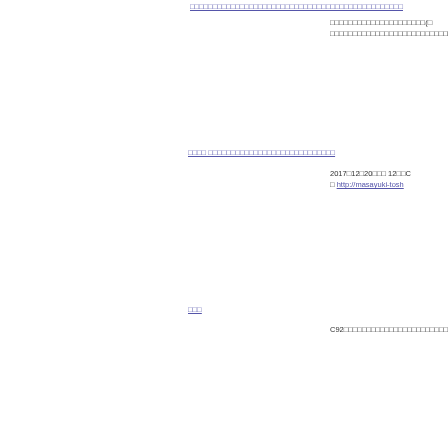□□□□□□□□□□□□□□□□□□□□□□□□□□□□□□□□□□□□
□□□□□□□□□□□□□□□□□□□□□(□
□□□□□□□□□□□□□□□□□□□□□□□□□□□□□□□□□□
□□□□ □□□□□□□□□□□□□□□□□□□□□□□□
2017□12□20□□□ 12□□C
□ http://masayuki-tosh
□□□
C92□□□□□□□□□□□□□□□□□□□□□□□